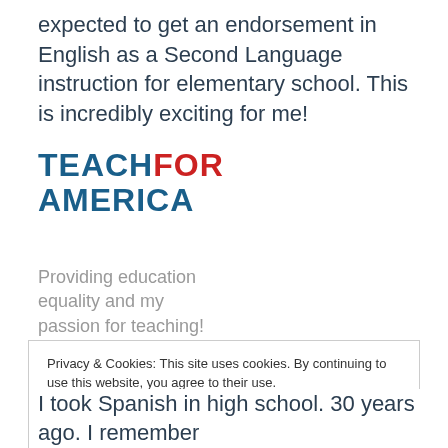expected to get an endorsement in English as a Second Language instruction for elementary school.  This is incredibly exciting for me!
[Figure (logo): Teach For America logo — 'TEACH' and 'AMERICA' in dark blue uppercase bold letters, 'FOR' in red uppercase bold letters, arranged in two lines.]
Providing education equality and my passion for teaching!
Privacy & Cookies: This site uses cookies. By continuing to use this website, you agree to their use.
To find out more, including how to control cookies, see here: Cookie Policy
I took Spanish in high school.  30 years ago. I remember